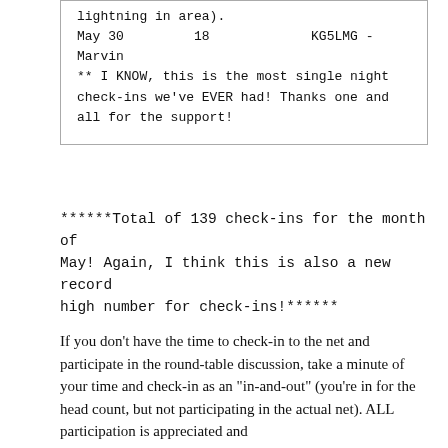lightning in area).
May 30    18    KG5LMG - Marvin
** I KNOW, this is the most single night check-ins we've EVER had! Thanks one and all for the support!
******Total of 139 check-ins for the month of May! Again, I think this is also a new record high number for check-ins!******
If you don’t have the time to check-in to the net and participate in the round-table discussion, take a minute of your time and check-in as an “in-and-out” (you’re in for the head count, but not participating in the actual net). ALL participation is appreciated and